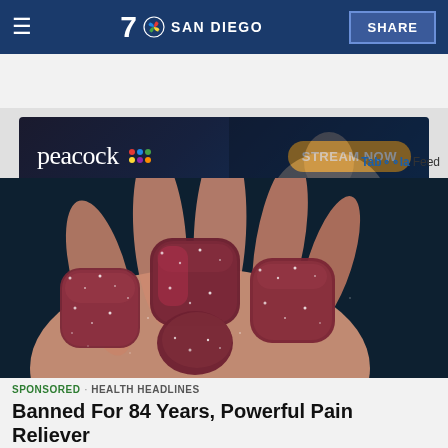7 NBC SAN DIEGO | SHARE
[Figure (infographic): Peacock streaming service advertisement banner with text 'peacock STREAM NOW']
Taboola Feed
[Figure (photo): Close-up photo of a hand holding several red sugary gummy candies]
SPONSORED · HEALTH HEADLINES
Banned For 84 Years, Powerful Pain Reliever